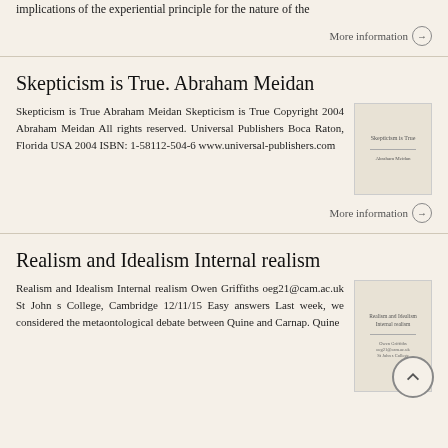implications of the experiential principle for the nature of the
More information →
Skepticism is True. Abraham Meidan
Skepticism is True Abraham Meidan Skepticism is True Copyright 2004 Abraham Meidan All rights reserved. Universal Publishers Boca Raton, Florida USA 2004 ISBN: 1-58112-504-6 www.universal-publishers.com
More information →
Realism and Idealism Internal realism
Realism and Idealism Internal realism Owen Griffiths oeg21@cam.ac.uk St John s College, Cambridge 12/11/15 Easy answers Last week, we considered the metaontological debate between Quine and Carnap. Quine